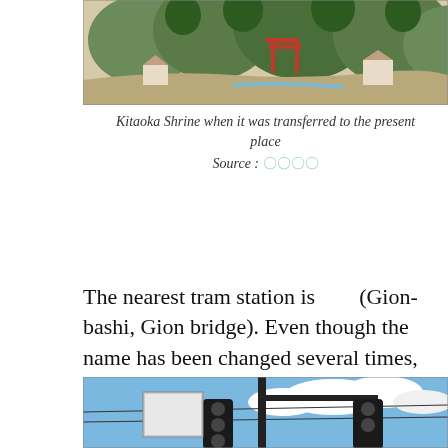[Figure (photo): Historical painting/map of Kitaoka Shrine showing the shrine with a red torii gate amid mountains and trees]
Kitaoka Shrine when it was transferred to the present place
Source : 〇〇〇〇
The nearest tram station is　　　　　(Gion-bashi, Gion bridge). Even though the name has been changed several times, we can see how people value their history's importance and try to preserve it.
[Figure (photo): Street photo showing traffic lights on a pole against a blue sky with clouds]